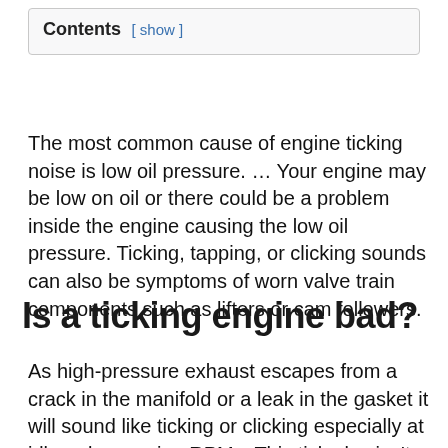Contents [ show ]
The most common cause of engine ticking noise is low oil pressure. … Your engine may be low on oil or there could be a problem inside the engine causing the low oil pressure. Ticking, tapping, or clicking sounds can also be symptoms of worn valve train components such as lifters or cam followers.
Is a ticking engine bad?
As high-pressure exhaust escapes from a crack in the manifold or a leak in the gasket it will sound like ticking or clicking especially at idle or low engine RPMs. This tick also isn't dangerous for your engine, but should be